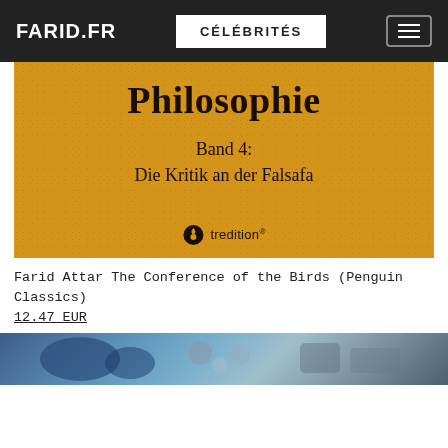FARID.FR | CÉLÉBRITÉS
[Figure (photo): Book cover with golden/orange textured background showing 'Philosophie Band 4: Die Kritik an der Falsafa' published by tredition]
Farid Attar The Conference of the Birds (Penguin Classics)
12.47 EUR
[Figure (photo): Partial image at bottom showing blue and grey tones, likely another book cover]